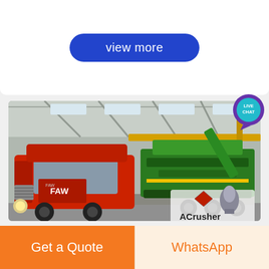view more
[Figure (photo): A red FAW truck hauling a large green mining/crushing machine on a flatbed trailer inside an industrial warehouse. ACrusher Mining Equipment logo visible in lower right corner.]
Workers must be protected from hazards of heated (hot ...
Get a Quote
WhatsApp